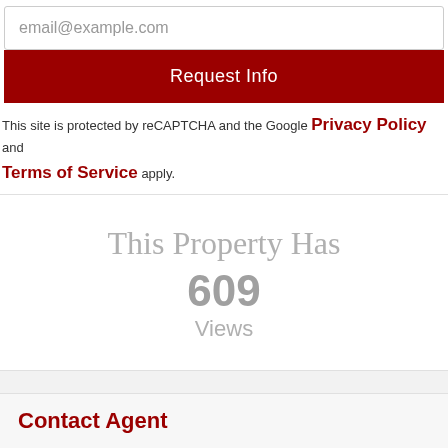email@example.com
Request Info
This site is protected by reCAPTCHA and the Google Privacy Policy and Terms of Service apply.
This Property Has 609 Views
[Figure (illustration): Building/calculator icon and car icon in gray]
Contact Agent